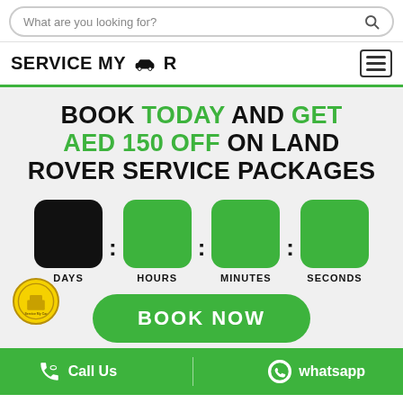[Figure (screenshot): Search bar with placeholder text 'What are you looking for?' and a search icon]
[Figure (logo): Service My Car logo with hamburger menu icon]
BOOK TODAY AND GET AED 150 OFF ON LAND ROVER SERVICE PACKAGES
[Figure (infographic): Countdown timer with four boxes labeled DAYS (black), HOURS (green), MINUTES (green), SECONDS (green)]
[Figure (logo): Small circular yellow Service My Car badge logo]
BOOK NOW
Call Us   whatsapp